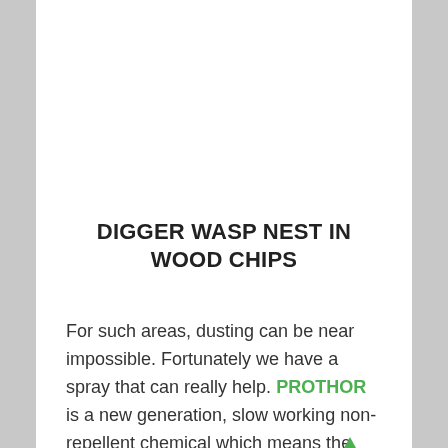DIGGER WASP NEST IN WOOD CHIPS
For such areas, dusting can be near impossible. Fortunately we have a spray that can really help. PROTHOR is a new generation, slow working non-repellent chemical which means the digger wasps won't know its been